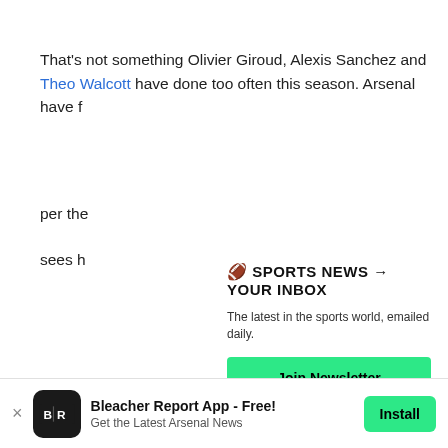That's not something Olivier Giroud, Alexis Sanchez and Theo Walcott have done too often this season. Arsenal have f
per the
sees h
[Figure (infographic): Newsletter signup modal overlay: emoji icon, bold text '🏈 SPORTS NEWS → YOUR INBOX', subtitle 'The latest in the sports world, emailed daily.', green Join Newsletter button, and Maybe Later link]
Solvin
gambl
Isco
Wenge
strugg
from n
[Figure (infographic): App download banner: Bleacher Report logo, 'Bleacher Report App - Free!', 'Get the Latest Arsenal News', Install button]